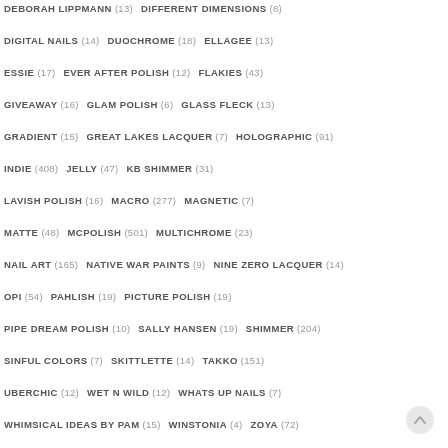DEBORAH LIPPMANN (13)   DIFFERENT DIMENSIONS (8)
DIGITAL NAILS (14)   DUOCHROME (18)   ELLAGEE (13)
ESSIE (17)   EVER AFTER POLISH (12)   FLAKIES (43)
GIVEAWAY (16)   GLAM POLISH (6)   GLASS FLECK (13)
GRADIENT (15)   GREAT LAKES LACQUER (7)   HOLOGRAPHIC (91)
INDIE (408)   JELLY (47)   KB SHIMMER (31)
LAVISH POLISH (16)   MACRO (277)   MAGNETIC (7)
MATTE (48)   MCPOLISH (501)   MULTICHROME (23)
NAIL ART (165)   NATIVE WAR PAINTS (9)   NINE ZERO LACQUER (14)
OPI (54)   PAHLISH (19)   PICTURE POLISH (19)
PIPE DREAM POLISH (10)   SALLY HANSEN (19)   SHIMMER (204)
SINFUL COLORS (7)   SKITTLETTE (14)   TAKKO (151)
UBERCHIC (12)   WET N WILD (12)   WHATS UP NAILS (7)
WHIMSICAL IDEAS BY PAM (15)   WINSTONIA (4)   ZOYA (72)